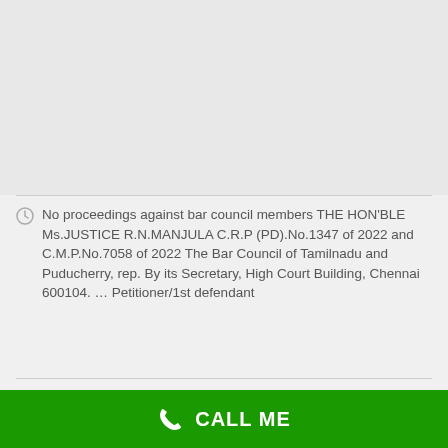No proceedings against bar council members THE HON'BLE Ms.JUSTICE R.N.MANJULA C.R.P (PD).No.1347 of 2022 and C.M.P.No.7058 of 2022 The Bar Council of Tamilnadu and Puducherry, rep. By its Secretary, High Court Building, Chennai 600104. … Petitioner/1st defendant
ii)On such surrender, the respondent authorities shall take steps